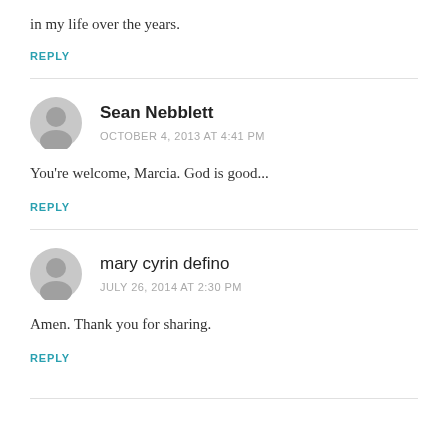in my life over the years.
REPLY
Sean Nebblett
OCTOBER 4, 2013 AT 4:41 PM
You're welcome, Marcia. God is good...
REPLY
mary cyrin defino
JULY 26, 2014 AT 2:30 PM
Amen. Thank you for sharing.
REPLY